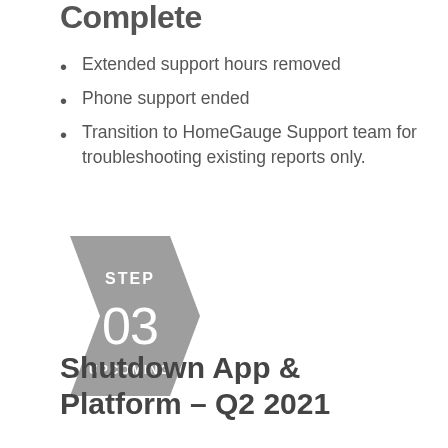Complete
Extended support hours removed
Phone support ended
Transition to HomeGauge Support team for troubleshooting existing reports only.
[Figure (infographic): Step 03 UPCOMING badge — a gray pentagon/arrow chevron shape with text STEP, 03, UPCOMING]
Shutdown App & Platform – Q2 2021